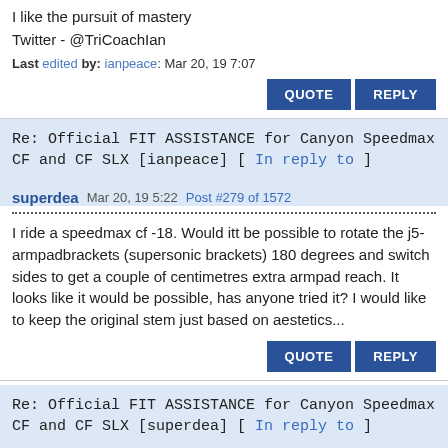I like the pursuit of mastery
Twitter - @TriCoachIan
Last edited by: ianpeace: Mar 20, 19 7:07
QUOTE  REPLY
Re: Official FIT ASSISTANCE for Canyon Speedmax CF and CF SLX [ianpeace] [ In reply to ]
superdea  Mar 20, 19 5:22  Post #279 of 1572
I ride a speedmax cf -18. Would itt be possible to rotate the j5-armpadbrackets (supersonic brackets) 180 degrees and switch sides to get a couple of centimetres extra armpad reach. It looks like it would be possible, has anyone tried it? I would like to keep the original stem just based on aestetics...
QUOTE  REPLY
Re: Official FIT ASSISTANCE for Canyon Speedmax CF and CF SLX [superdea] [ In reply to ]